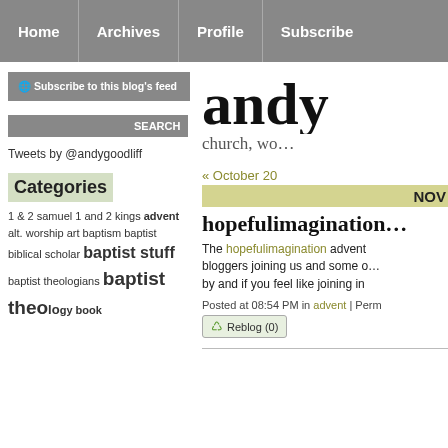Home | Archives | Profile | Subscribe
andy
church, wo...
Subscribe to this blog's feed
Tweets by @andygoodliff
Categories
1 & 2 samuel 1 and 2 kings advent alt. worship art baptism baptist biblical scholar baptist stuff baptist theologians baptist theology book
« October 20
NOV
hopefulimaginatio...
The hopefulimagination advent bloggers joining us and some o... by and if you feel like joining in
Posted at 08:54 PM in advent | Perm
Reblog (0)